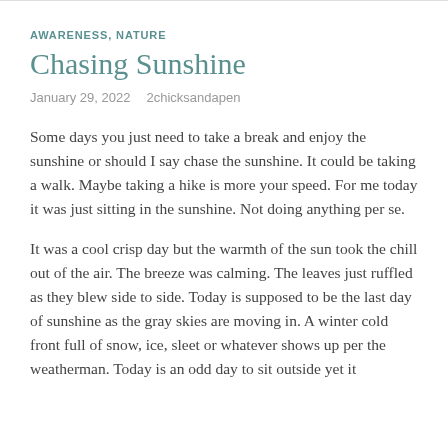AWARENESS, NATURE
Chasing Sunshine
January 29, 2022   2chicksandapen
Some days you just need to take a break and enjoy the sunshine or should I say chase the sunshine. It could be taking a walk. Maybe taking a hike is more your speed. For me today it was just sitting in the sunshine. Not doing anything per se.
It was a cool crisp day but the warmth of the sun took the chill out of the air. The breeze was calming. The leaves just ruffled as they blew side to side. Today is supposed to be the last day of sunshine as the gray skies are moving in. A winter cold front full of snow, ice, sleet or whatever shows up per the weatherman. Today is an odd day to sit outside yet it